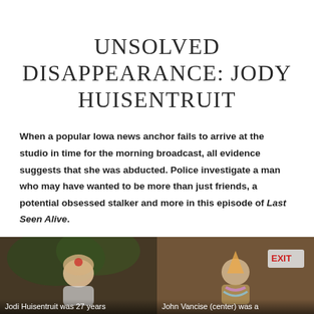UNSOLVED DISAPPEARANCE: JODY HUISENTRUIT
When a popular Iowa news anchor fails to arrive at the studio in time for the morning broadcast, all evidence suggests that she was abducted. Police investigate a man who may have wanted to be more than just friends, a potential obsessed stalker and more in this episode of Last Seen Alive.
[Figure (photo): Photo of Jodi Huisentruit with caption: Jodi Huisentruit was 27 years]
[Figure (photo): Photo of John Vancise at a party with an EXIT sign visible, caption: John Vancise (center) was a]